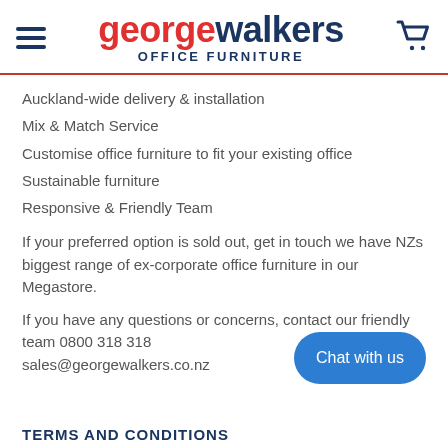george walkers OFFICE FURNITURE
Auckland-wide delivery & installation
Mix & Match Service
Customise office furniture to fit your existing office
Sustainable furniture
Responsive & Friendly Team
If your preferred option is sold out, get in touch we have NZs biggest range of ex-corporate office furniture in our Megastore.
If you have any questions or concerns, contact our friendly team 0800 318 318
sales@georgewalkers.co.nz
TERMS AND CONDITIONS